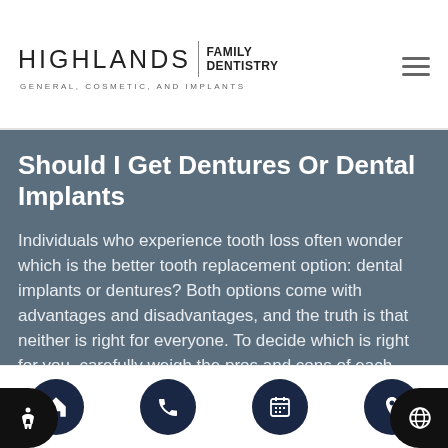HIGHLANDS FAMILY DENTISTRY — GENERAL, COSMETIC, AND IMPLANTS
Should I Get Dentures Or Dental Implants
Individuals who experience tooth loss often wonder which is the better tooth replacement option: dental implants or dentures? Both options come with advantages and disadvantages, and the truth is that neither is right for everyone. To decide which is right for you, carefully weigh the pros and cons of each option.A denture is a removable...
Home | Phone | Calendar | Location